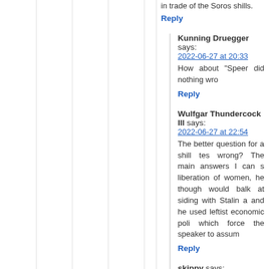in trade of the Soros shills.
Reply
Kunning Druegger says:
2022-06-27 at 20:33
How about "Speer did nothing wro
Reply
Wulfgar Thundercock III says:
2022-06-27 at 22:54
The better question for a shill tes wrong? The main answers I can s liberation of women, he though would balk at siding with Stalin a and he used leftist economic poli which force the speaker to assum
Reply
skippy says:
2022-06-27 at 22:56
How many who will say "Hitler d say "Hitler was a good man"?
Reply